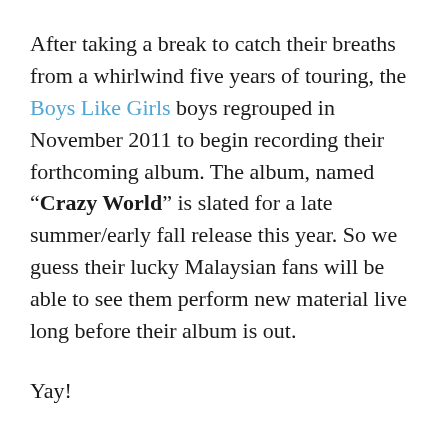After taking a break to catch their breaths from a whirlwind five years of touring, the Boys Like Girls boys regrouped in November 2011 to begin recording their forthcoming album. The album, named “Crazy World” is slated for a late summer/early fall release this year. So we guess their lucky Malaysian fans will be able to see them perform new material live long before their album is out.
Yay!